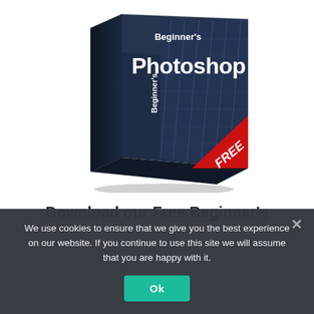[Figure (illustration): A 3D software box labeled "Beginner's Photoshop" with a blue-dark background showing a tall glass building. The side panel shows vertical text "Beginner's Photoshop". A red triangular banner in the bottom-right corner says FREE in large white italic letters.]
Download our Free Beginner's
We use cookies to ensure that we give you the best experience on our website. If you continue to use this site we will assume that you are happy with it.